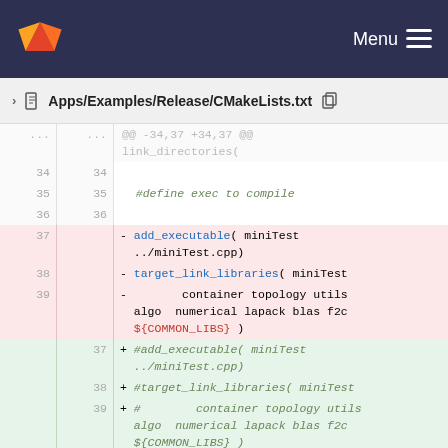Menu
Apps/Examples/Release/CMakeLists.txt
@@ -34,37 +34,37 @@
link_directories(
34  34
35  35  #define exec to compile
36  36
37      - add_executable( miniTest ../miniTest.cpp)
38      - target_link_libraries( miniTest
39      -         container topology utils algo  numerical lapack blas f2c ${COMMON_LIBS} )
        37  + #add_executable( miniTest ../miniTest.cpp)
        38  + #target_link_libraries( miniTest
        39  + #         container topology utils algo  numerical lapack blas f2c ${COMMON_LIBS} )
40  40